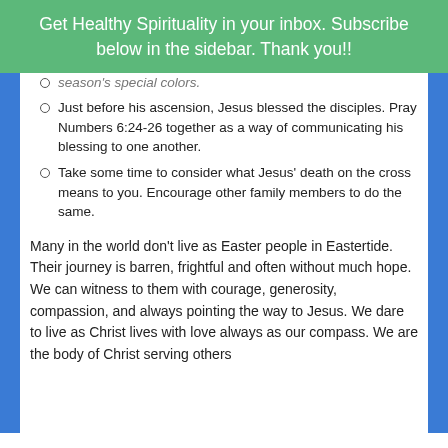Get Healthy Spirituality in your inbox. Subscribe below in the sidebar. Thank you!!
season's special colors.
Just before his ascension, Jesus blessed the disciples. Pray Numbers 6:24-26 together as a way of communicating his blessing to one another.
Take some time to consider what Jesus' death on the cross means to you. Encourage other family members to do the same.
Many in the world don't live as Easter people in Eastertide. Their journey is barren, frightful and often without much hope. We can witness to them with courage, generosity, compassion, and always pointing the way to Jesus. We dare to live as Christ lives with love always as our compass. We are the body of Christ serving others